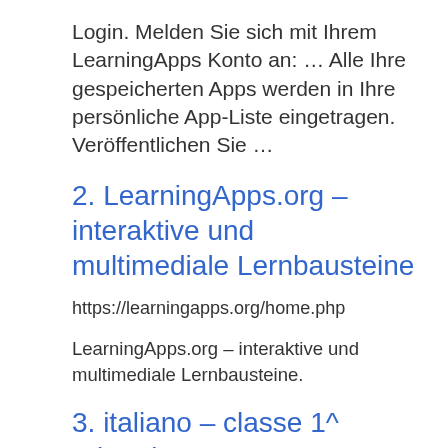Login. Melden Sie sich mit Ihrem LearningApps Konto an: … Alle Ihre gespeicherten Apps werden in Ihre persönliche App-Liste eingetragen. Veröffentlichen Sie …
2. LearningApps.org – interaktive und multimediale Lernbausteine
https://learningapps.org/home.php
LearningApps.org – interaktive und multimediale Lernbausteine.
3. italiano – classe 1^ primaria – LearningApps.org